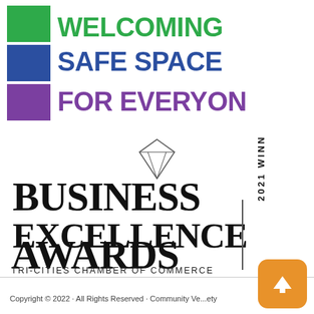[Figure (logo): Welcoming Safe Space For Everyone logo with green, blue, and purple colored blocks on the left and text on the right: WELCOMING in green, SAFE SPACE in blue, FOR EVERYONE in purple]
[Figure (logo): Business Excellence Awards 2021 Winner - Tri-Cities Chamber of Commerce logo with diamond icon at top, large serif text BUSINESS EXCELLENCE AWARDS, vertical bar with 2021 WINNER text, and TRI-CITIES CHAMBER OF COMMERCE below]
Copyright © 2022 · All Rights Reserved · Community Ve...ety